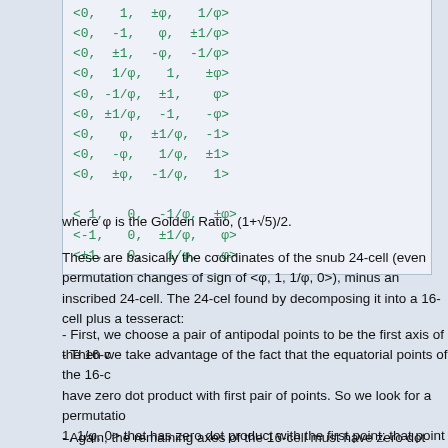<0,  1,  ±φ,   1/φ>
<0, -1,   φ,  ±1/φ>
<0, ±1,  -φ,  -1/φ>
<0,  1/φ,  1,  ±φ>
<0, -1/φ, ±1,   φ>
<0, ±1/φ, -1,  -φ>
<0,  φ, ±1/φ,  -1>
<0, -φ,  1/φ,  ±1>
<0, ±φ, -1/φ,   1>

< 1,  0, -1/φ,  ±φ>
<-1,  0, ±1/φ,   φ>
<±1,  0,  1/φ,  -φ>
where φ is the Golden Ratio, (1+√5)/2.
These are basically the coordinates of the snub 24-cell (even permutations/changes of sign of <φ, 1, 1/φ, 0>), minus an inscribed 24-cell. The 24-cell was found by decomposing it into a 16-cell plus a tesseract:
- First, we choose a pair of antipodal points to be the first axis of the 16-c...
- Then we take advantage of the fact that the equatorial points of the 16-c... have zero dot product with first pair of points. So we look for a permutatio... 1, 1/φ, 0> that has zero dot product with the first point; that point with its a... forms the second axis of the 16-cell.
- Again, the remaining axes of the 16-cell must have zero dot product with...